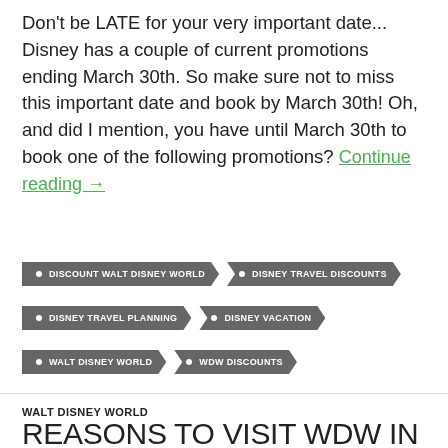Don't be LATE for your very important date... Disney has a couple of current promotions ending March 30th. So make sure not to miss this important date and book by March 30th! Oh, and did I mention, you have until March 30th to book one of the following promotions? Continue reading →
DISCOUNT WALT DISNEY WORLD
DISNEY TRAVEL DISCOUNTS
DISNEY TRAVEL PLANNING
DISNEY VACATION
WALT DISNEY WORLD
WDW DISCOUNTS
WALT DISNEY WORLD
REASONS TO VISIT WDW IN 2017
MARCH 1, 2017   TONYA